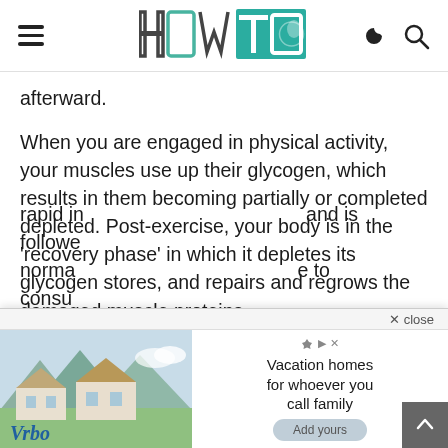HOWTO
afterward.
When you are engaged in physical activity, your muscles use up their glycogen, which results in them becoming partially or completed depleted. Post-exercise, your body is in the ‘recovery phase’ in which it depletes its glycogen stores, and repairs and regrows the damaged muscle proteins.
Research has shown that the replenishment is most rapid in [ad overlay] and is followed [ad overlay] normal [ad overlay] e to consu[ad overlay]
[Figure (advertisement): Vrbo vacation homes advertisement with mountain house image and text: Vacation homes for whoever you call family]